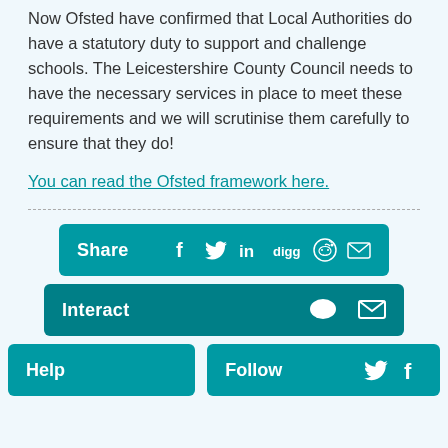Now Ofsted have confirmed that Local Authorities do have a statutory duty to support and challenge schools. The Leicestershire County Council needs to have the necessary services in place to meet these requirements and we will scrutinise them carefully to ensure that they do!
You can read the Ofsted framework here.
[Figure (infographic): Social sharing bar with Share label and icons for Facebook, Twitter, LinkedIn, Digg, Reddit, and Email on a teal background]
[Figure (infographic): Interact button with comment and email icons on a darker teal background]
[Figure (infographic): Help button and Follow button with Twitter and Facebook icons, both on teal backgrounds]